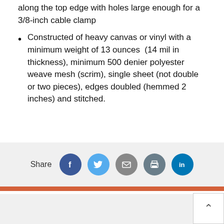along the top edge with holes large enough for a 3/8-inch cable clamp
Constructed of heavy canvas or vinyl with a minimum weight of 13 ounces (14 mil in thickness), minimum 500 denier polyester weave mesh (scrim), single sheet (not double or two pieces), edges doubled (hemmed 2 inches) and stitched.
Contact us
Share